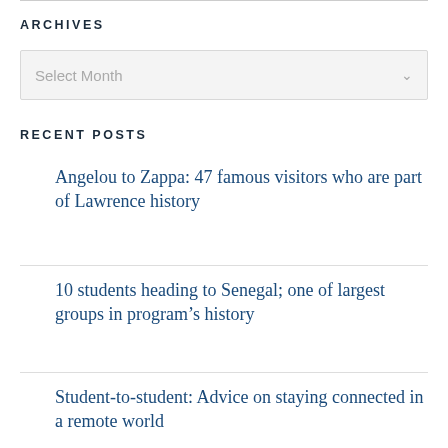ARCHIVES
Select Month
RECENT POSTS
Angelou to Zappa: 47 famous visitors who are part of Lawrence history
10 students heading to Senegal; one of largest groups in program’s history
Student-to-student: Advice on staying connected in a remote world